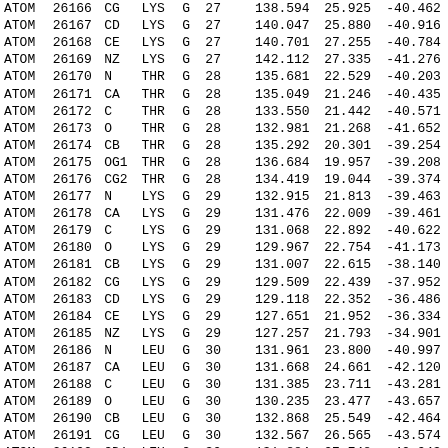|  |  |  |  |  |  |  | X | Y | Z |
| --- | --- | --- | --- | --- | --- | --- | --- | --- | --- |
| ATOM | 26166 | CG | LYS | G | 27 |  | 138.594 | 25.925 | -40.462 |
| ATOM | 26167 | CD | LYS | G | 27 |  | 140.047 | 25.880 | -40.916 |
| ATOM | 26168 | CE | LYS | G | 27 |  | 140.701 | 27.255 | -40.784 |
| ATOM | 26169 | NZ | LYS | G | 27 |  | 142.112 | 27.335 | -41.276 |
| ATOM | 26170 | N | THR | G | 28 |  | 135.681 | 22.529 | -40.203 |
| ATOM | 26171 | CA | THR | G | 28 |  | 135.049 | 21.246 | -40.435 |
| ATOM | 26172 | C | THR | G | 28 |  | 133.550 | 21.442 | -40.571 |
| ATOM | 26173 | O | THR | G | 28 |  | 132.981 | 21.268 | -41.652 |
| ATOM | 26174 | CB | THR | G | 28 |  | 135.292 | 20.301 | -39.254 |
| ATOM | 26175 | OG1 | THR | G | 28 |  | 136.684 | 19.957 | -39.208 |
| ATOM | 26176 | CG2 | THR | G | 28 |  | 134.419 | 19.044 | -39.374 |
| ATOM | 26177 | N | LYS | G | 29 |  | 132.915 | 21.813 | -39.463 |
| ATOM | 26178 | CA | LYS | G | 29 |  | 131.476 | 22.009 | -39.461 |
| ATOM | 26179 | C | LYS | G | 29 |  | 131.068 | 22.892 | -40.622 |
| ATOM | 26180 | O | LYS | G | 29 |  | 129.967 | 22.754 | -41.173 |
| ATOM | 26181 | CB | LYS | G | 29 |  | 131.007 | 22.615 | -38.140 |
| ATOM | 26182 | CG | LYS | G | 29 |  | 129.509 | 22.439 | -37.952 |
| ATOM | 26183 | CD | LYS | G | 29 |  | 129.118 | 22.352 | -36.486 |
| ATOM | 26184 | CE | LYS | G | 29 |  | 127.651 | 21.952 | -36.334 |
| ATOM | 26185 | NZ | LYS | G | 29 |  | 127.257 | 21.793 | -34.901 |
| ATOM | 26186 | N | LEU | G | 30 |  | 131.961 | 23.800 | -40.997 |
| ATOM | 26187 | CA | LEU | G | 30 |  | 131.668 | 24.661 | -42.120 |
| ATOM | 26188 | C | LEU | G | 30 |  | 131.385 | 23.711 | -43.281 |
| ATOM | 26189 | O | LEU | G | 30 |  | 130.235 | 23.477 | -43.657 |
| ATOM | 26190 | CB | LEU | G | 30 |  | 132.868 | 25.549 | -42.464 |
| ATOM | 26191 | CG | LEU | G | 30 |  | 132.567 | 26.565 | -43.574 |
| ATOM | 26192 | CD1 | LEU | G | 30 |  | 131.884 | 27.748 | -42.943 |
| ATOM | 26193 | CD2 | LEU | G | 30 |  | 133.819 | 27.029 | -44.283 |
| ATOM | 26194 | N | LEU | G | 31 |  | 132.455 | 23.135 | -43.806 |
| ATOM | 26195 | CA | LEU | G | 31 |  | 132.389 | 22.223 | -44.930 |
| ATOM | 26196 | C | LEU | G | 31 |  | 131.001 | 21.004 | -44.878 |